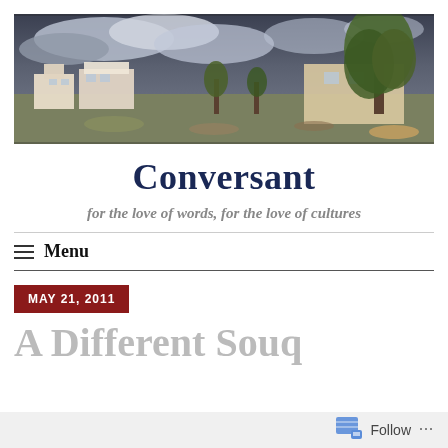[Figure (photo): Outdoor landscape photo showing white buildings, trees, and a dramatic cloudy sky — appears to be a Middle Eastern or North African village scene.]
Conversant
for the love of words, for the love of cultures
Menu
MAY 21, 2011
A Different Souq